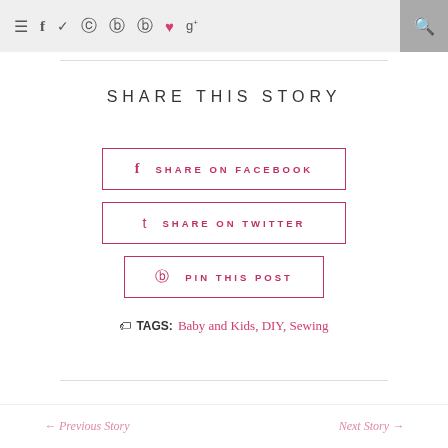≡  f  t  ◻  ⓟ  ⓟ  ♥  g+  🔍
SHARE THIS STORY
f  SHARE ON FACEBOOK
t  SHARE ON TWITTER
⊕  PIN THIS POST
🏷 TAGS: Baby and Kids, DIY, Sewing
← Previous Story    Next Story →